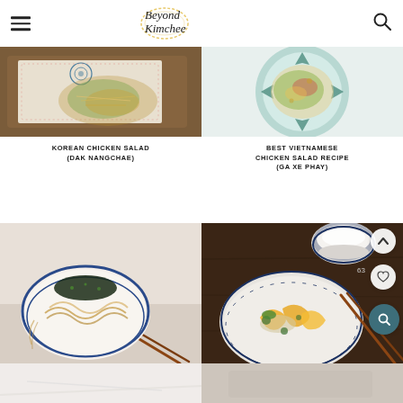Beyond Kimchee
[Figure (photo): Korean chicken salad (Dak Nangchae) dish photo - top view of salad on patterned cloth on wooden tray]
KOREAN CHICKEN SALAD (DAK NANGCHAE)
[Figure (photo): Vietnamese chicken salad (Ga Xe Phay) dish photo - top view on teal decorative plate]
BEST VIETNAMESE CHICKEN SALAD RECIPE (GA XE PHAY)
[Figure (photo): Bowl of noodles with seaweed and green onion garnish, chopsticks, on white background]
[Figure (photo): Bowl of mango chicken salad with chopsticks and rice bowl on dark wood background, with scroll-up, heart, and search UI buttons overlay]